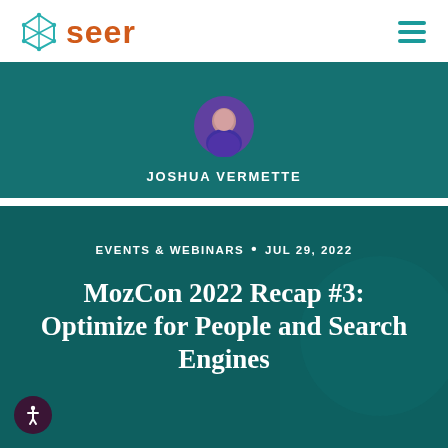seer
[Figure (photo): Author card with circular avatar photo of Joshua Vermette against a teal/dark background]
JOSHUA VERMETTE
[Figure (photo): Article card with teal-overlaid background image (machinery/astronaut) showing article metadata and title]
EVENTS & WEBINARS • JUL 29, 2022
MozCon 2022 Recap #3: Optimize for People and Search Engines